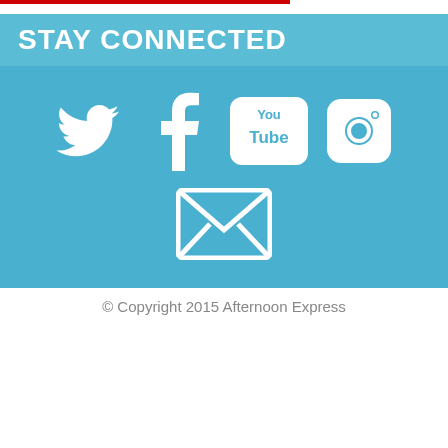STAY CONNECTED
[Figure (infographic): Social media icons: Twitter, Facebook, YouTube, Instagram, and Email (envelope) on a light blue background]
© Copyright 2015 Afternoon Express